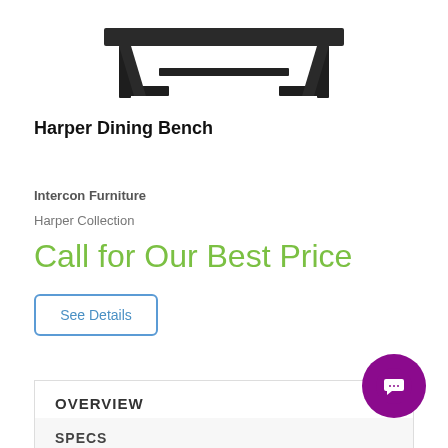[Figure (photo): Product image of Harper Dining Bench, a dark/black bench with geometric metal legs, shown from a slightly elevated angle on white background]
Harper Dining Bench
Intercon Furniture
Harper Collection
Call for Our Best Price
See Details
OVERVIEW
SPECS